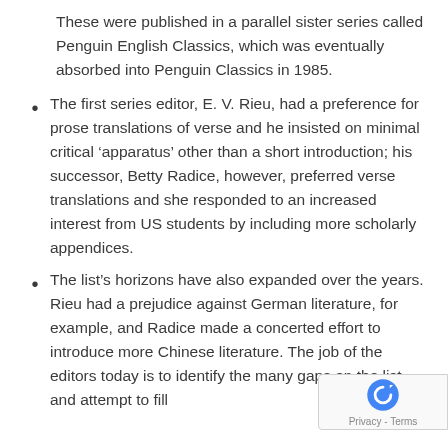These were published in a parallel sister series called Penguin English Classics, which was eventually absorbed into Penguin Classics in 1985.
The first series editor, E. V. Rieu, had a preference for prose translations of verse and he insisted on minimal critical ‘apparatus’ other than a short introduction; his successor, Betty Radice, however, preferred verse translations and she responded to an increased interest from US students by including more scholarly appendices.
The list’s horizons have also expanded over the years. Rieu had a prejudice against German literature, for example, and Radice made a concerted effort to introduce more Chinese literature. The job of the editors today is to identify the many gaps on the list and attempt to fill